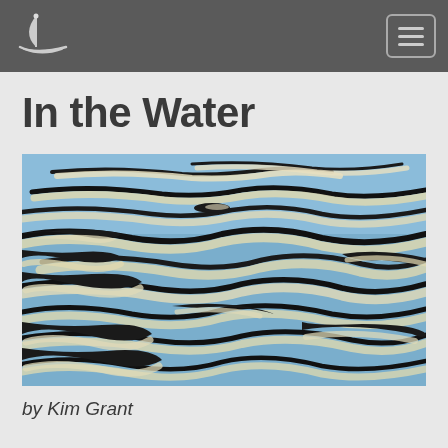In the Water
[Figure (photo): Photograph of water surface showing blue water with black and white reflections creating abstract ripple patterns, possibly reflections of a boat mast or shoreline trees on the water]
by Kim Grant